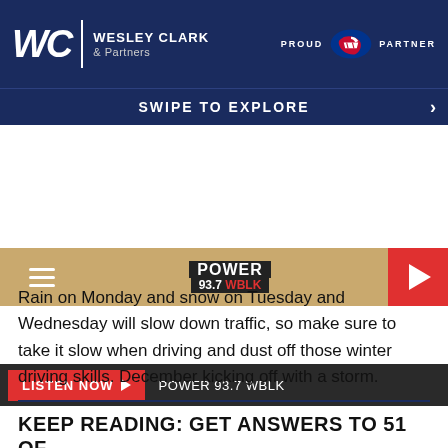[Figure (screenshot): Wesley Clark & Partners logo with WC letters, vertical divider, and company name on dark navy background with Buffalo Bills logo and PROUD PARTNER text]
SWIPE TO EXPLORE
[Figure (logo): POWER 93.7 WBLK radio station logo on tan/gold navigation bar with hamburger menu and red play button]
LISTEN NOW  POWER 93.7 WBLK
Rain on Monday and snow on Tuesday and Wednesday will slow down traffic, so make sure to take it slow when driving and dust off those winter driving skills. December kicking off with a storm.
KEEP READING: GET ANSWERS TO 51 OF THE MOST FREQUENTLY ASKED WEATHER-